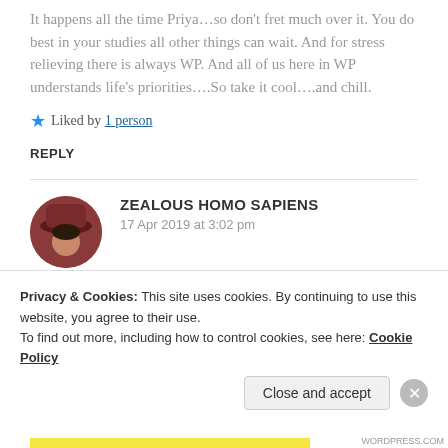It happens all the time Priya…so don't fret much over it. You do best in your studies all other things can wait. And for stress relieving there is always WP. And all of us here in WP understands life's priorities….So take it cool….and chill.
★ Liked by 1 person
REPLY
ZEALOUS HOMO SAPIENS
17 Apr 2019 at 3:02 pm
Privacy & Cookies: This site uses cookies. By continuing to use this website, you agree to their use. To find out more, including how to control cookies, see here: Cookie Policy
Close and accept